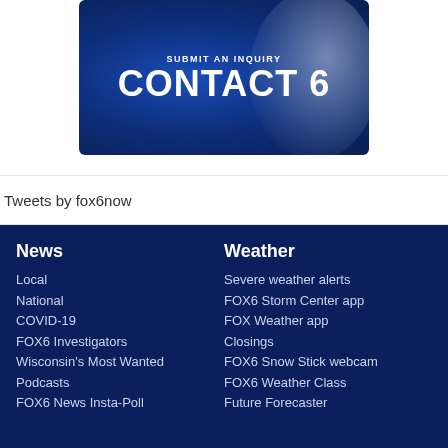[Figure (logo): SUBMIT AN INQUIRY / CONTACT 6 banner with dark blue radial gradient background and silver arc element on right side]
Tweets by fox6now
News
Local
National
COVID-19
FOX6 Investigators
Wisconsin's Most Wanted
Podcasts
FOX6 News Insta-Poll
Weather
Severe weather alerts
FOX6 Storm Center app
FOX Weather app
Closings
FOX6 Snow Stick webcam
FOX6 Weather Class
Future Forecaster